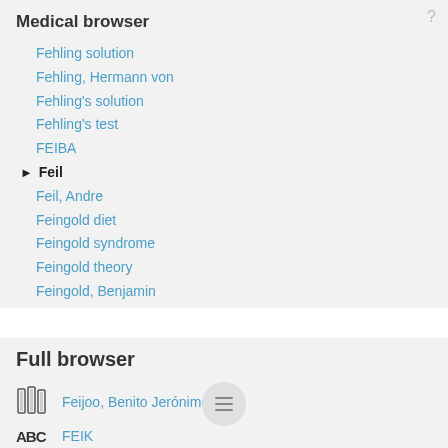Medical browser
Fehling solution
Fehling, Hermann von
Fehling's solution
Fehling's test
FEIBA
► Feil
Feil, Andre
Feingold diet
Feingold syndrome
Feingold theory
Feingold, Benjamin
Feiss
Full browser
Feijoo, Benito Jerónimo
FEIK
Feik, School of Pharmacy